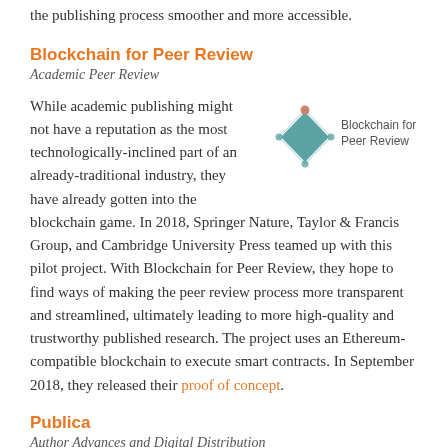the publishing process smoother and more accessible.
Blockchain for Peer Review
Academic Peer Review
[Figure (logo): Blockchain for Peer Review logo: a teal diamond/rhombus shape with connecting dots, alongside the text 'Blockchain for Peer Review']
While academic publishing might not have a reputation as the most technologically-inclined part of an already-traditional industry, they have already gotten into the blockchain game. In 2018, Springer Nature, Taylor & Francis Group, and Cambridge University Press teamed up with this pilot project. With Blockchain for Peer Review, they hope to find ways of making the peer review process more transparent and streamlined, ultimately leading to more high-quality and trustworthy published research. The project uses an Ethereum-compatible blockchain to execute smart contracts. In September 2018, they released their proof of concept.
Publica
Author Advances and Digital Distribution
Winner of Digital Book World's